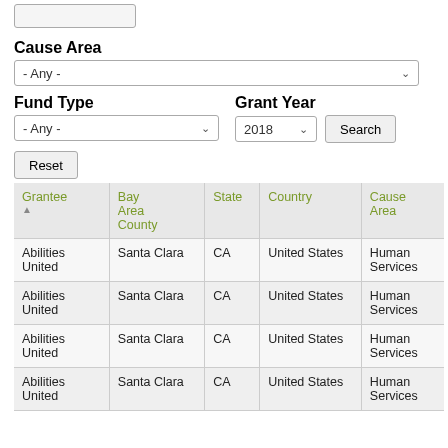[Figure (screenshot): Filter form placeholder box at top]
Cause Area
[Figure (screenshot): Cause Area dropdown select: - Any -]
Fund Type
[Figure (screenshot): Fund Type dropdown select: - Any -]
Grant Year
[Figure (screenshot): Grant Year dropdown: 2018, Search button]
[Figure (screenshot): Reset button]
| Grantee | Bay Area County | State | Country | Cause Area |
| --- | --- | --- | --- | --- |
| Abilities United | Santa Clara | CA | United States | Human Services |
| Abilities United | Santa Clara | CA | United States | Human Services |
| Abilities United | Santa Clara | CA | United States | Human Services |
| Abilities United | Santa Clara | CA | United States | Human Services |